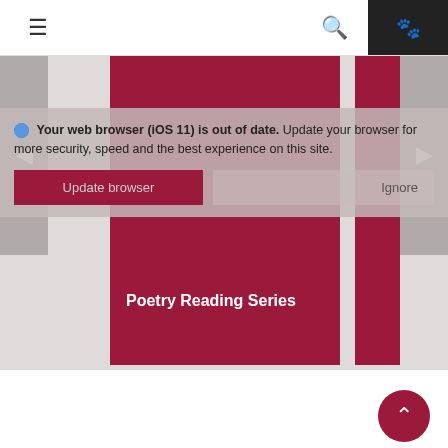Navigation bar with hamburger menu, search icon, and paw icon
[Figure (screenshot): Website carousel area with dark red tiles and browser update notification overlay. Left and right navigation arrows. Red tile shows 'Poetry Reading Series' label.]
Your web browser (iOS 11) is out of date. Update your browser for more security, speed and the best experience on this site.
Update browser | Ignore
Tabula Poetica
Join us for live-streaming of all our events for Fall 2020 on the Tabula